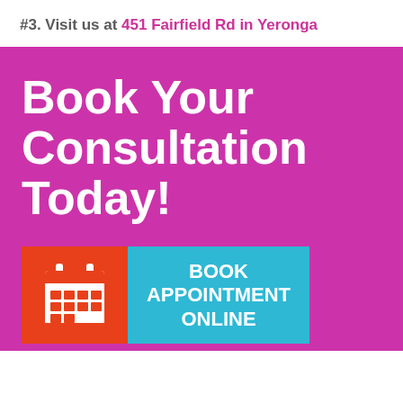#3. Visit us at 451 Fairfield Rd in Yeronga
Book Your Consultation Today!
[Figure (infographic): Orange box with calendar icon next to a teal/cyan box with bold white text 'BOOK APPOINTMENT ONLINE']
Same day emergency appointments are available upon request